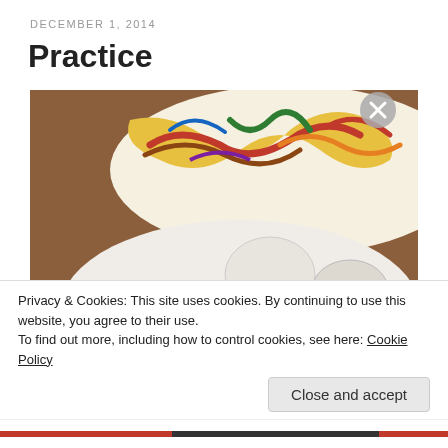DECEMBER 1, 2014
Practice
[Figure (photo): Close-up photo of a colorful painted plate/palette with abstract swirling brushstrokes in red, green, yellow, blue, brown on the upper portion, and a white artist's palette with paint spots (green, yellow, orange, black) in the lower portion, on a wooden surface.]
Privacy & Cookies: This site uses cookies. By continuing to use this website, you agree to their use.
To find out more, including how to control cookies, see here: Cookie Policy
Close and accept